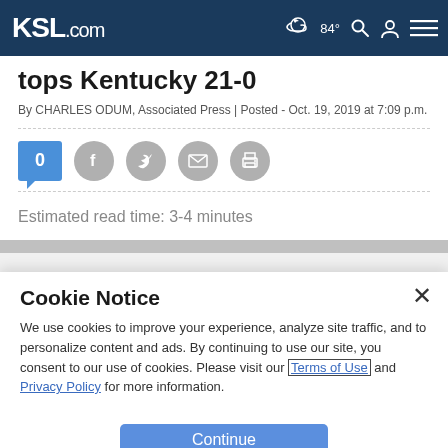KSL.com | 84° | Search | Account | Menu
tops Kentucky 21-0
By CHARLES ODUM, Associated Press | Posted - Oct. 19, 2019 at 7:09 p.m.
[Figure (infographic): Social sharing row with comment count (0), Facebook, Twitter, email, and print icons]
Estimated read time: 3-4 minutes
Cookie Notice
We use cookies to improve your experience, analyze site traffic, and to personalize content and ads. By continuing to use our site, you consent to our use of cookies. Please visit our Terms of Use and Privacy Policy for more information.
Continue